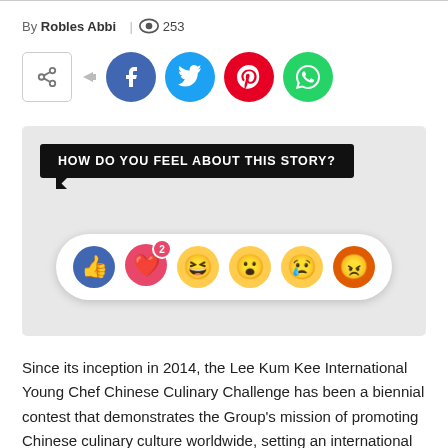By Robles Abbi | 👁 253
[Figure (screenshot): Social share buttons: share icon box, Facebook (blue circle), Twitter (cyan circle), Pinterest (red circle), WhatsApp (green circle)]
[Figure (infographic): Gray box with black speech bubble text 'HOW DO YOU FEEL ABOUT THIS STORY?' and a Facebook-style reaction emoji row showing thumbs up (blue), heart with 2 badge (pink), laughing emoji, surprised emoji, sad emoji, angry emoji (orange)]
Since its inception in 2014, the Lee Kum Kee International Young Chef Chinese Culinary Challenge has been a biennial contest that demonstrates the Group's mission of promoting Chinese culinary culture worldwide, setting an international